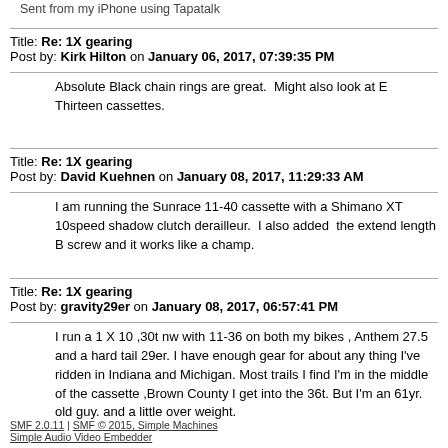Sent from my iPhone using Tapatalk
Title: Re: 1X gearing
Post by: Kirk Hilton on January 06, 2017, 07:39:35 PM
Absolute Black chain rings are great.  Might also look at E Thirteen cassettes.
Title: Re: 1X gearing
Post by: David Kuehnen on January 08, 2017, 11:29:33 AM
I am running the Sunrace 11-40 cassette with a Shimano XT 10speed shadow clutch derailleur.  I also added  the extend length B screw and it works like a champ.
Title: Re: 1X gearing
Post by: gravity29er on January 08, 2017, 06:57:41 PM
I run a 1 X 10 ,30t nw with 11-36 on both my bikes , Anthem 27.5 and a hard tail 29er. I have enough gear for about any thing I've ridden in Indiana and Michigan. Most trails I find I'm in the middle of the cassette ,Brown County I get into the 36t. But I'm an 61yr. old guy. and a little over weight.
SMF 2.0.11 | SMF © 2015, Simple Machines
Simple Audio Video Embedder